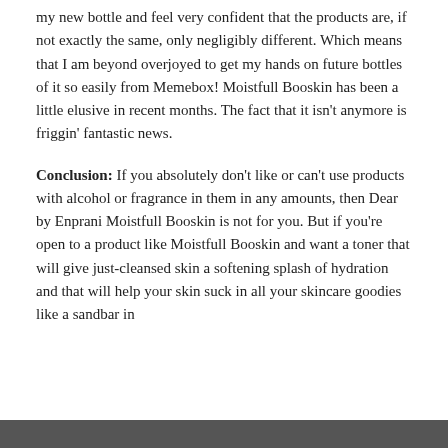my new bottle and feel very confident that the products are, if not exactly the same, only negligibly different. Which means that I am beyond overjoyed to get my hands on future bottles of it so easily from Memebox! Moistfull Booskin has been a little elusive in recent months. The fact that it isn't anymore is friggin' fantastic news.
Conclusion: If you absolutely don't like or can't use products with alcohol or fragrance in them in any amounts, then Dear by Enprani Moistfull Booskin is not for you. But if you're open to a product like Moistfull Booskin and want a toner that will give just-cleansed skin a softening splash of hydration and that will help your skin suck in all your skincare goodies like a sandbar in
Privacy & Cookies: This site uses cookies. By continuing to use this website, you agree to their use.
To find out more, including how to control cookies, see here: Cookie Policy